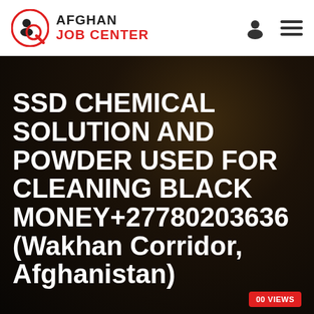AFGHAN JOB CENTER
SSD CHEMICAL SOLUTION AND POWDER USED FOR CLEANING BLACK MONEY+27780203636 (Wakhan Corridor, Afghanistan)
00 VIEWS